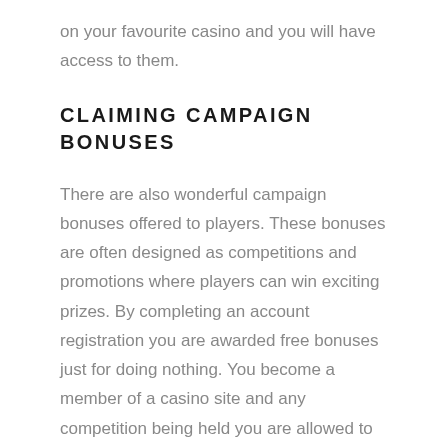on your favourite casino and you will have access to them.
CLAIMING CAMPAIGN BONUSES
There are also wonderful campaign bonuses offered to players. These bonuses are often designed as competitions and promotions where players can win exciting prizes. By completing an account registration you are awarded free bonuses just for doing nothing. You become a member of a casino site and any competition being held you are allowed to participate in it. This means more bonuses and free spins awarded by the casino just for participating. Most online casinos inform players about their exciting campaigns and promotions through the email they used to register for the